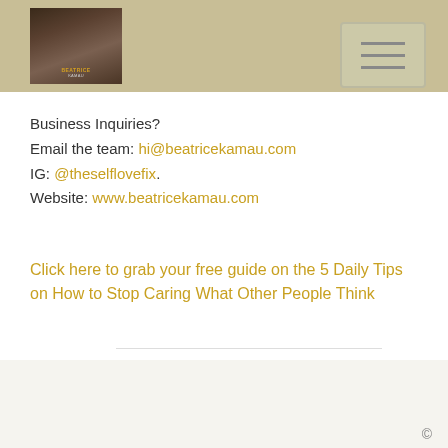beatricekamau.com - header with logo and navigation
Business Inquiries?
Email the team: hi@beatricekamau.com
IG: @theselflovefix.
Website: www.beatricekamau.com
Click here to grab your free guide on the 5 Daily Tips on How to Stop Caring What Other People Think
©